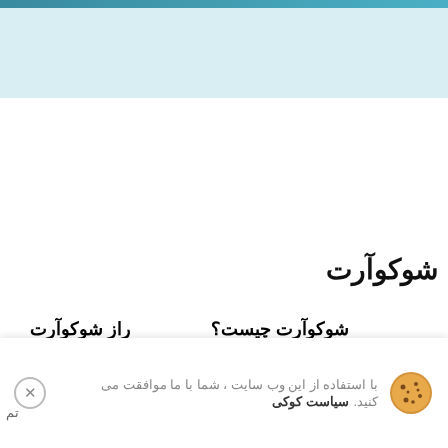شوکوآرت
راز شوکوآرت
شوکوآرت چیست؟
هدف شوکوآرت
با استفاده از این وب سایت ، شما با ما موافقت می کنید. سیاست کوکی